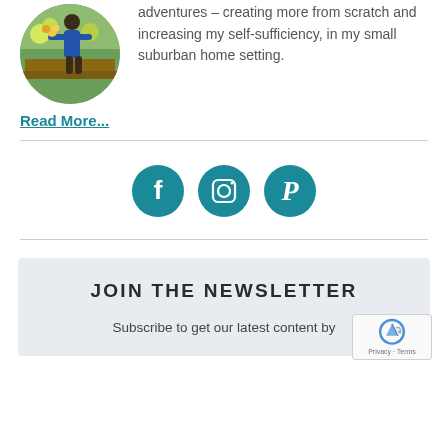[Figure (photo): Circular profile photo of a person in a garden holding plants, with raised garden beds visible in the background.]
adventures – creating more from scratch and increasing my self-sufficiency, in my small suburban home setting.
Read More...
[Figure (other): Three teal/dark cyan circular social media icons: Facebook (f), Instagram (camera), Pinterest (P)]
JOIN THE NEWSLETTER
Subscribe to get our latest content by